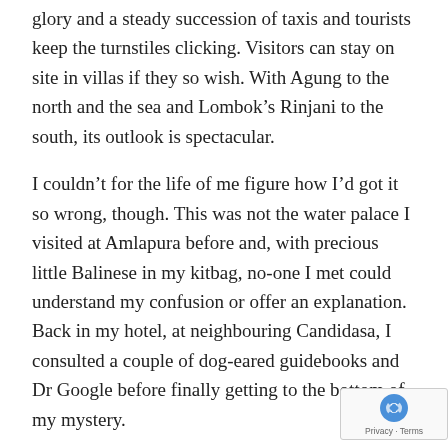glory and a steady succession of taxis and tourists keep the turnstiles clicking. Visitors can stay on site in villas if they so wish. With Agung to the north and the sea and Lombok’s Rinjani to the south, its outlook is spectacular.
I couldn’t for the life of me figure how I’d got it so wrong, though. This was not the water palace I visited at Amlapura before and, with precious little Balinese in my kitbag, no-one I met could understand my confusion or offer an explanation. Back in my hotel, at neighbouring Candidasa, I consulted a couple of dog-eared guidebooks and Dr Google before finally getting to the bottom of my mystery.
Turns out I Gusti Bagus Djelantik, the King of Karangasem, built not one but two water palaces. I was at the Taman Ujung water palace. The one I was missing